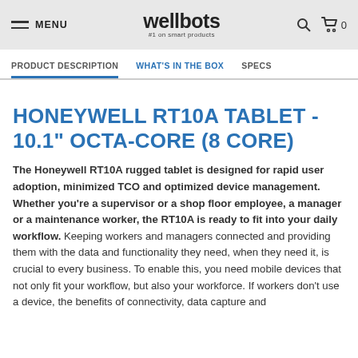MENU | wellbots #1 on smart products | Search | Cart 0
PRODUCT DESCRIPTION | WHAT'S IN THE BOX | SPECS
HONEYWELL RT10A TABLET - 10.1" OCTA-CORE (8 CORE)
The Honeywell RT10A rugged tablet is designed for rapid user adoption, minimized TCO and optimized device management. Whether you're a supervisor or a shop floor employee, a manager or a maintenance worker, the RT10A is ready to fit into your daily workflow. Keeping workers and managers connected and providing them with the data and functionality they need, when they need it, is crucial to every business. To enable this, you need mobile devices that not only fit your workflow, but also your workforce. If workers don't use a device, the benefits of connectivity, data capture and